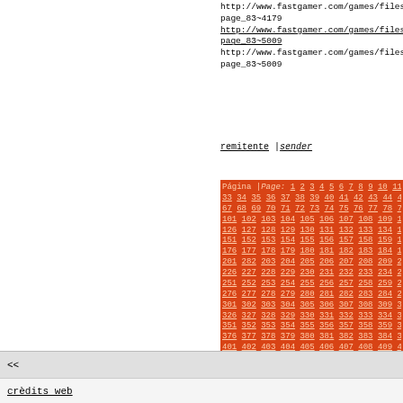http://www.fastgamer.com/games/files/scripts/adult_page_83~4179
http://www.fastgamer.com/games/files/scripts/adult_page_83~5009
http://www.fastgamer.com/games/files/scripts/adult_page_83~5009
remitente | sender
[Figure (other): Orange pagination block with page numbers 1 through 563+ arranged in rows, all as hyperlinks on orange background]
<<
credits web